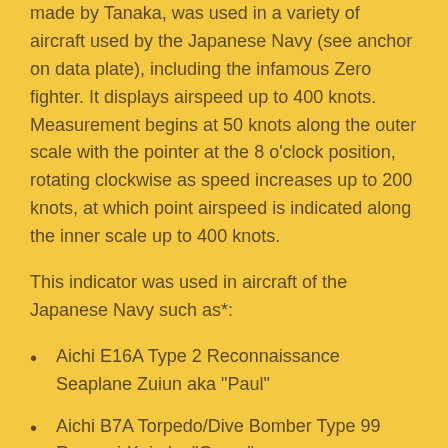made by Tanaka, was used in a variety of aircraft used by the Japanese Navy (see anchor on data plate), including the infamous Zero fighter. It displays airspeed up to 400 knots.  Measurement begins at 50 knots along the outer scale with the pointer at the 8 o'clock position, rotating clockwise as speed increases up to 200 knots, at which point airspeed is indicated along the inner scale up to 400 knots.
This indicator was used in aircraft of the Japanese Navy such as*:
Aichi E16A Type 2 Reconnaissance Seaplane Zuiun aka "Paul"
Aichi B7A Torpedo/Dive Bomber Type 99 Ryuusei-Kai aka "Grace"
Aichi M6A Submarine-launched Attack Seaplane